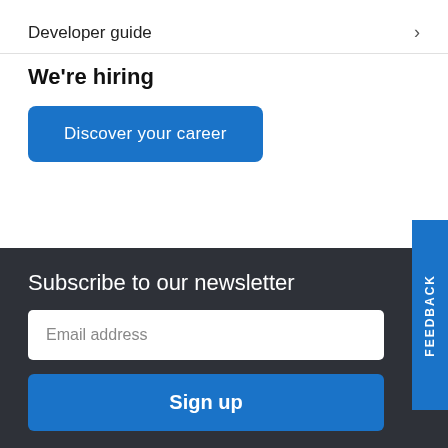Developer guide  >
We're hiring
Discover your career
Subscribe to our newsletter
Email address
Sign up
FEEDBACK